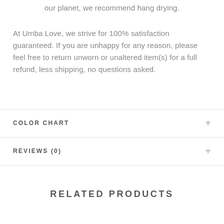our planet, we recommend hang drying.
At Umba Love, we strive for 100% satisfaction guaranteed. If you are unhappy for any reason, please feel free to return unworn or unaltered item(s) for a full refund, less shipping, no questions asked.
COLOR CHART
REVIEWS (0)
RELATED PRODUCTS